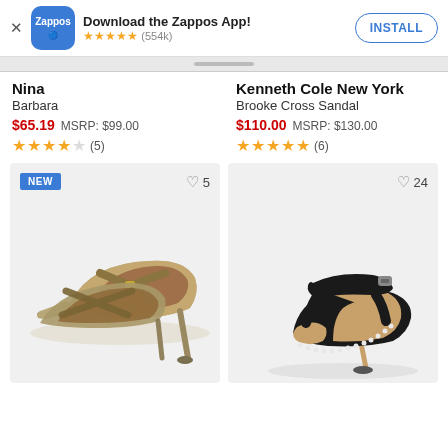[Figure (screenshot): Zappos app install banner with logo, star rating (554k reviews), and INSTALL button]
Nina
Barbara
$65.19   MSRP: $99.00
★★★★☆ (5)
Kenneth Cole New York
Brooke Cross Sandal
$110.00   MSRP: $130.00
★★★★★ (6)
[Figure (photo): Nina Barbara gold/bronze pointed-toe mule heels with cross strap, NEW badge, 5 likes]
[Figure (photo): Kenneth Cole New York Brooke Cross Sandal black ankle-strap high heel sandal, 24 likes]